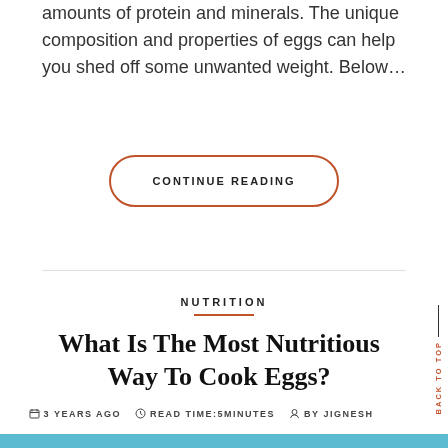amounts of protein and minerals. The unique composition and properties of eggs can help you shed off some unwanted weight. Below…
CONTINUE READING
NUTRITION
What Is The Most Nutritious Way To Cook Eggs?
3 YEARS AGO   READ TIME:5MINUTES   BY JIGNESH
[Figure (photo): Photo of cooked eggs dishes on a teal/blue background, partially visible at bottom of page]